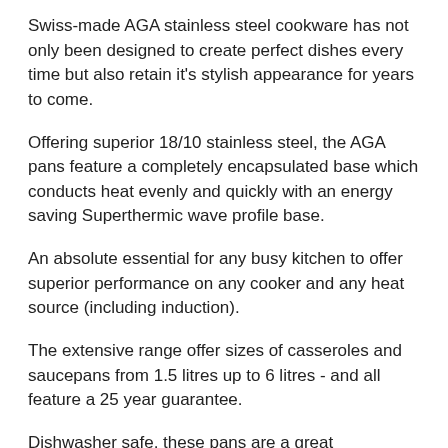Swiss-made AGA stainless steel cookware has not only been designed to create perfect dishes every time but also retain it's stylish appearance for years to come.
Offering superior 18/10 stainless steel, the AGA pans feature a completely encapsulated base which conducts heat evenly and quickly with an energy saving Superthermic wave profile base.
An absolute essential for any busy kitchen to offer superior performance on any cooker and any heat source (including induction).
The extensive range offer sizes of casseroles and saucepans from 1.5 litres up to 6 litres - and all feature a 25 year guarantee.
Dishwasher safe, these pans are a great investment and will last for years to come.
The encapsulated base enables movement down to the heat source, to create a completely flat surface, ensuring even heat when cooking. This occurs due to the